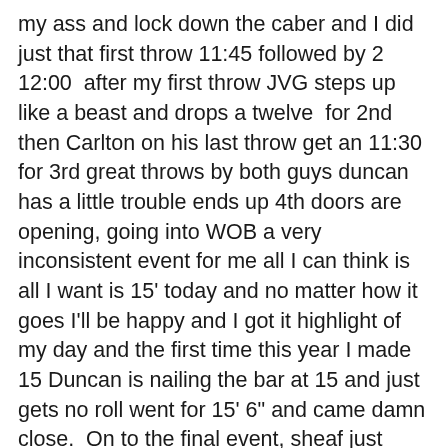my ass and lock down the caber and I did just that first throw 11:45 followed by 2 12:00  after my first throw JVG steps up like a beast and drops a twelve  for 2nd then Carlton on his last throw get an 11:30 for 3rd great throws by both guys duncan has a little trouble ends up 4th doors are opening, going into WOB a very inconsistent event for me all I can think is all I want is 15' today and no matter how it goes I'll be happy and I got it highlight of my day and the first time this year I made 15 Duncan is nailing the bar at 15 and just gets no roll went for 15' 6" and came damn close.  On to the final event, sheaf just hoping I can pull it off went up clean until 34 or 35' 6 think it was 34' 6" know I can make this height both myself and Duncan are still in I was smashing the bar just not getting over we both miss all 3 and